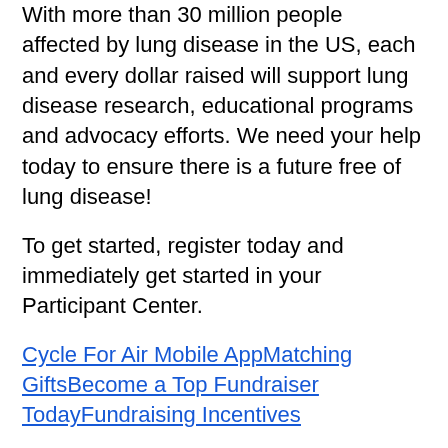With more than 30 million people affected by lung disease in the US, each and every dollar raised will support lung disease research, educational programs and advocacy efforts. We need your help today to ensure there is a future free of lung disease!
To get started, register today and immediately get started in your Participant Center.
Cycle For Air Mobile AppMatching GiftsBecome a Top Fundraiser TodayFundraising Incentives
Want to know how to get the most out of your online fundraising efforts? Follow these steps to success:
Make a self-donation and ask others to match